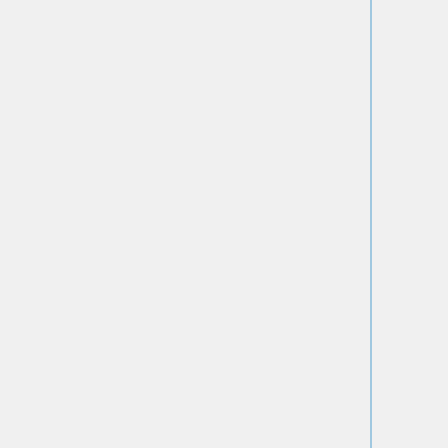| Component | Specifications |
| --- | --- |
| Linear Voltage Regulator | Voltage Regulator Type:LDO Linear | Output Voltage Max:3.3V | Package/Case:3-TO-220 | No. of Pins:3 |
| 2 Tantalum Capacitors | Capacitance:10 uF | Tolerance:10% | Voltage Rating:10 Volts | Termination Style:Axial | Product:Tantalum Solid High Reliability |
| Breadboard PCB | External Height: TODO | External Width: TODO | Board Thickness:1.5mm | Pitch Spacing:2.54mm | Hole Diameter:1mm |
| (cut off) | Conductor Size AWG:30 | Jacket ... |